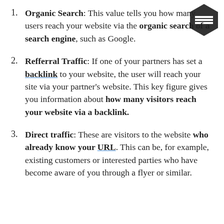Organic Search: This value tells you how many users reach your website via the organic search of a search engine, such as Google.
Refferral Traffic: If one of your partners has set a backlink to your website, the user will reach your site via your partner's website. This key figure gives you information about how many visitors reach your website via a backlink.
Direct traffic: These are visitors to the website who already know your URL. This can be, for example, existing customers or interested parties who have become aware of you through a flyer or similar.